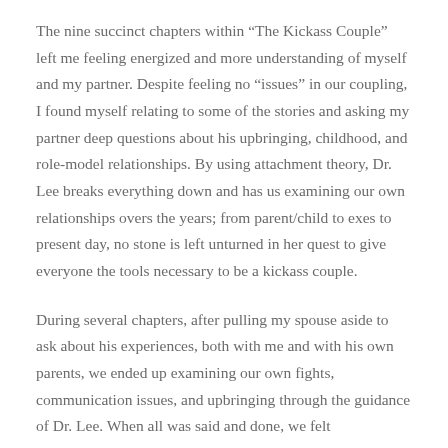The nine succinct chapters within “The Kickass Couple” left me feeling energized and more understanding of myself and my partner. Despite feeling no “issues” in our coupling, I found myself relating to some of the stories and asking my partner deep questions about his upbringing, childhood, and role-model relationships. By using attachment theory, Dr. Lee breaks everything down and has us examining our own relationships overs the years; from parent/child to exes to present day, no stone is left unturned in her quest to give everyone the tools necessary to be a kickass couple.
During several chapters, after pulling my spouse aside to ask about his experiences, both with me and with his own parents, we ended up examining our own fights, communication issues, and upbringing through the guidance of Dr. Lee. When all was said and done, we felt